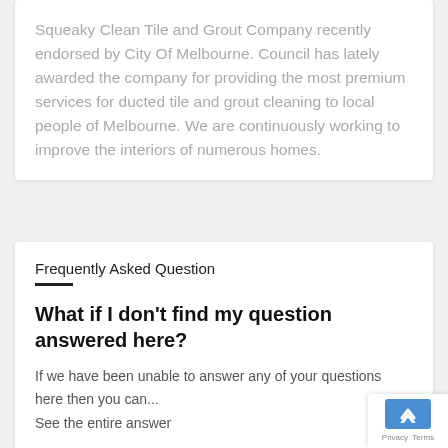Squeaky Clean Tile and Grout Company recently endorsed by City Of Melbourne. Council has lately awarded the company for providing the most premium services for ducted tile and grout cleaning to local people of Melbourne. We are continuously working to improve the interiors of numerous homes.
Frequently Asked Question
What if I don't find my question answered here?
If we have been unable to answer any of your questions here then you can...
See the entire answer
Where are your services available? And do